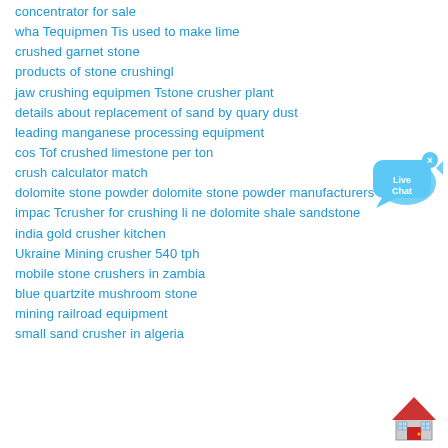concentrator for sale
wha Tequipmen Tis used to make lime
crushed garnet stone
products of stone crushingl
jaw crushing equipmen Tstone crusher plant
details about replacement of sand by quary dust
leading manganese processing equipment
cos Tof crushed limestone per ton
crush calculator match
dolomite stone powder dolomite stone powder manufacturers
impac Tcrusher for crushing li ne dolomite shale sandstone
india gold crusher kitchen
Ukraine Mining crusher 540 tph
mobile stone crushers in zambia
blue quartzite mushroom stone
mining railroad equipment
small sand crusher in algeria
[Figure (illustration): Live Chat bubble icon with blue speech bubble and fish/shark shape, with X close button]
[Figure (illustration): Red and gray house/home icon emoji]